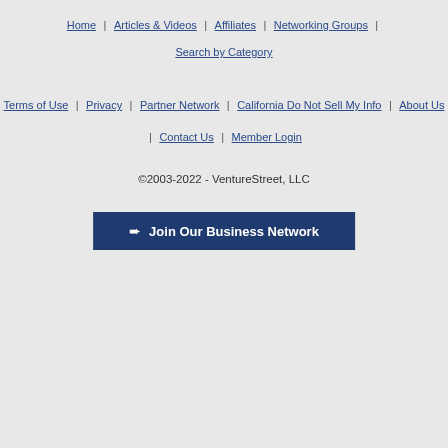Home | Articles & Videos | Affiliates | Networking Groups | Search by Category
Terms of Use | Privacy | Partner Network | California Do Not Sell My Info | About Us | Contact Us | Member Login
©2003-2022 - VentureStreet, LLC
➜ Join Our Business Network